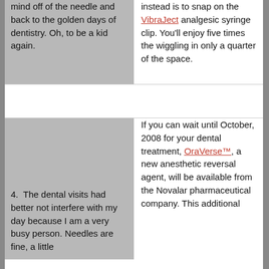mind off of the needle and back to the golden days of dentistry. Oh, to be a kid again.
instead is to snap on the VibraJect analgesic syringe clip. You'll enjoy five times the wiggling in only a quarter of the space.
If you can wait until October, 2008 for your dental treatment, OraVerse™, a new anesthetic reversal agent, will be available from the Novalar pharmaceutical company. This additional
4.  The dental visits had better not interfere with my day because I am a very busy person. Needles are fine, a little